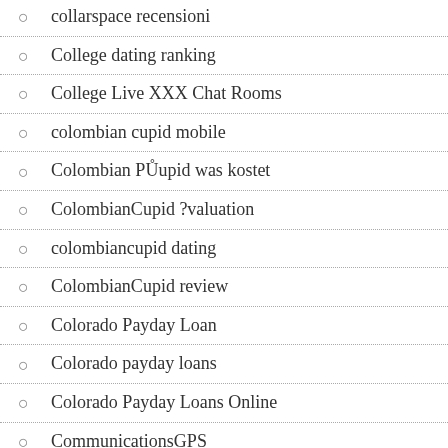collarspace recensioni
College dating ranking
College Live XXX Chat Rooms
colombian cupid mobile
Colombian PŮupid was kostet
ColombianCupid ?valuation
colombiancupid dating
ColombianCupid review
Colorado Payday Loan
Colorado payday loans
Colorado Payday Loans Online
CommunicationsGPS